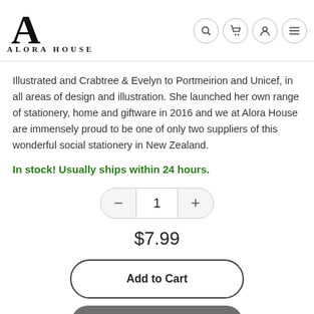[Figure (logo): Alora House logo with stylized A and text ALORA HOUSE]
Illustrated and Crabtree & Evelyn to Portmeirion and Unicef, in all areas of design and illustration. She launched her own range of stationery, home and giftware in 2016 and we at Alora House are immensely proud to be one of only two suppliers of this wonderful social stationery in New Zealand.
In stock! Usually ships within 24 hours.
$7.99
Add to Cart
Buy it now